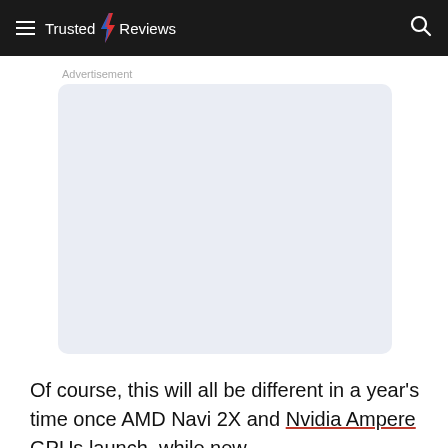Trusted Reviews
[Figure (other): Advertisement placeholder box with light blue-grey background and rounded corners]
Of course, this will all be different in a year's time once AMD Navi 2X and Nvidia Ampere GPUs launch, while new